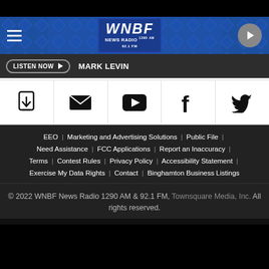[Figure (logo): WNBF News Radio 1290 AM 92.1 FM logo on blue diamond-pattern background header with hamburger menu and play button]
LISTEN NOW ▶   MARK LEVIN
[Figure (infographic): Social media icon row: app icon, email, YouTube, Facebook, Twitter]
EEO | Marketing and Advertising Solutions | Public File | Need Assistance | FCC Applications | Report an Inaccuracy | Terms | Contest Rules | Privacy Policy | Accessibility Statement | Exercise My Data Rights | Contact | Binghamton Business Listings
© 2022 WNBF News Radio 1290 AM & 92.1 FM, Townsquare Media, Inc. All rights reserved.